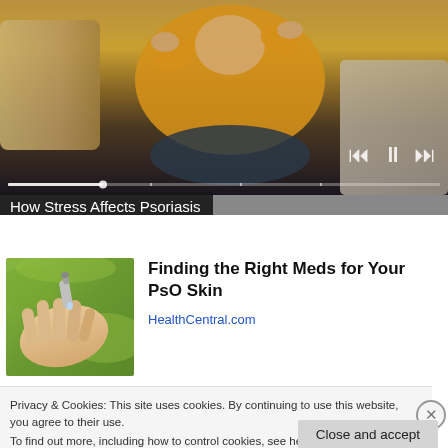[Figure (screenshot): Video player showing a person in a yellow sweater sitting on a couch, with playback controls (skip back, pause, skip forward) and a progress bar. Video title overlay reads 'How Stress Affects Psoriasis'.]
How Stress Affects Psoriasis
[Figure (photo): Close-up photo of a hand with someone applying medication or nail treatment with a small bottle.]
Finding the Right Meds for Your PsO Skin
HealthCentral.com
Privacy & Cookies: This site uses cookies. By continuing to use this website, you agree to their use.
To find out more, including how to control cookies, see here: Cookie Policy
Close and accept